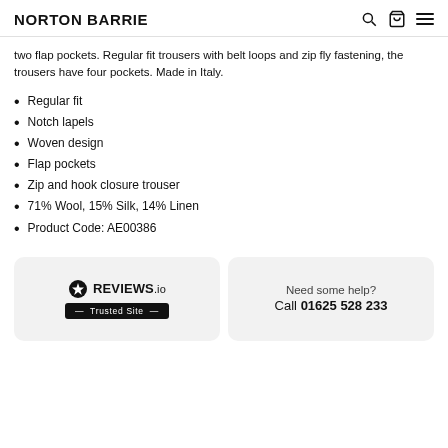NORTON BARRIE
two flap pockets. Regular fit trousers with belt loops and zip fly fastening, the trousers have four pockets. Made in Italy.
Regular fit
Notch lapels
Woven design
Flap pockets
Zip and hook closure trouser
71% Wool, 15% Silk, 14% Linen
Product Code: AE00386
[Figure (logo): REVIEWS.io Trusted Site badge logo]
Need some help? Call 01625 528 233